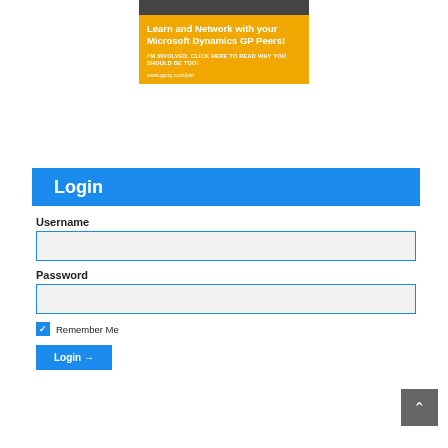[Figure (illustration): Advertisement banner for GPUG (GP User Group) showing people shaking hands at top, followed by an orange/yellow box with text 'Learn and Network with your Microsoft Dynamics GP Peers!' and smaller text 'I'M INVOLVED, CLICK HERE TO READ WHY YOU SHOULD BE TOO!' and URL 'www.gpug.com/join']
Login
Username
Password
Remember Me
Login →